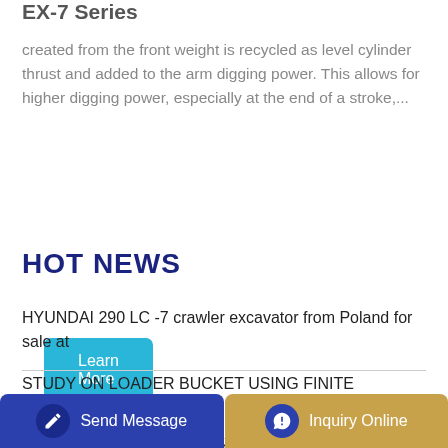EX-7 Series
created from the front weight is recycled as level cylinder thrust and added to the arm digging power. This allows for higher digging power, especially at the end of a stroke,...
[Figure (other): Blue 'Learn More' button]
HOT NEWS
HYUNDAI 290 LC -7 crawler excavator from Poland for sale at
STUDY ON LOADER BUCKET USING FINITE ELEMENT ANALYSIS
DL-2 Analytics Accelerator Loader Accelerator Loader
[Figure (other): Bottom navigation bar with 'Send Message' blue button and 'Inquiry Online' gold button]